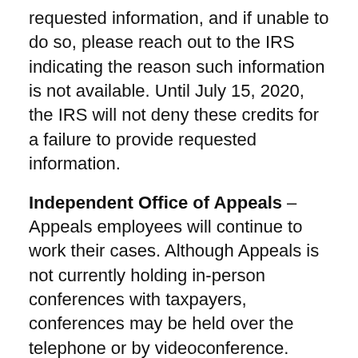requested information, and if unable to do so, please reach out to the IRS indicating the reason such information is not available. Until July 15, 2020, the IRS will not deny these credits for a failure to provide requested information.
Independent Office of Appeals – Appeals employees will continue to work their cases. Although Appeals is not currently holding in-person conferences with taxpayers, conferences may be held over the telephone or by videoconference. Taxpayers are encouraged to promptly respond to any outstanding requests for information for all cases in the Independent Office of Appeals.
Statute of Limitations - The IRS will continue to take steps where necessary to protect all applicable statutes of limitations. In instances where statute expirations might be jeopardized during this period